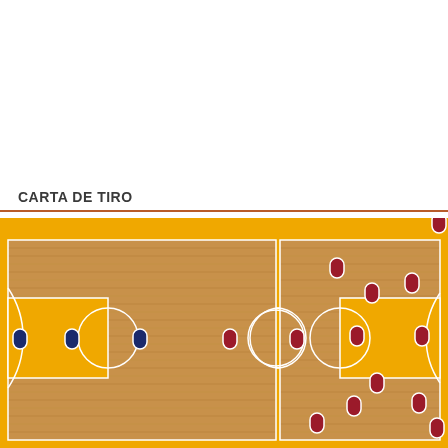CARTA DE TIRO
[Figure (other): Basketball shot chart showing two half-courts with player position markers. Left half-court shows 3 blue/navy oval markers and 1 red oval marker. Right half-court shows approximately 12 red oval markers in various positions including perimeter, mid-range, paint area, and one marker partially outside the top-right corner.]